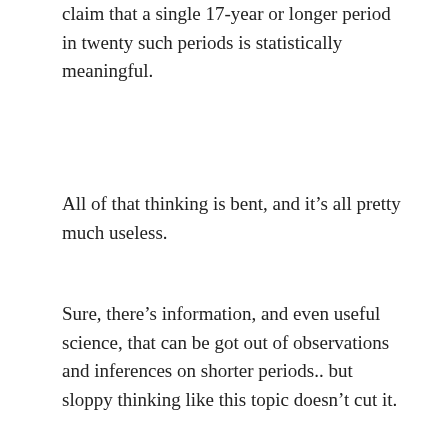claim that a single 17-year or longer period in twenty such periods is statistically meaningful.
All of that thinking is bent, and it’s all pretty much useless.
Sure, there’s information, and even useful science, that can be got out of observations and inferences on shorter periods.. but sloppy thinking like this topic doesn’t cut it.
★ Loading...
kim | April 14, 2014 at 7:09 pm |
Plus change chosen meme,
Let adapt be how we rally